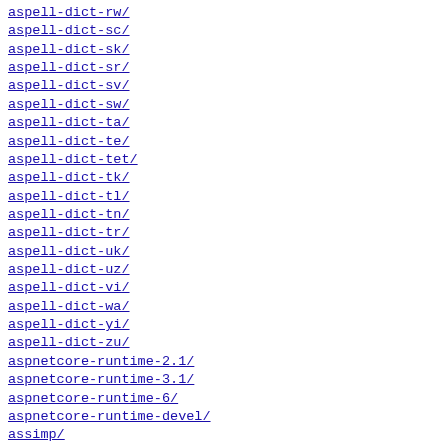aspell-dict-rw/
aspell-dict-sc/
aspell-dict-sk/
aspell-dict-sr/
aspell-dict-sv/
aspell-dict-sw/
aspell-dict-ta/
aspell-dict-te/
aspell-dict-tet/
aspell-dict-tk/
aspell-dict-tl/
aspell-dict-tn/
aspell-dict-tr/
aspell-dict-uk/
aspell-dict-uz/
aspell-dict-vi/
aspell-dict-wa/
aspell-dict-yi/
aspell-dict-zu/
aspnetcore-runtime-2.1/
aspnetcore-runtime-3.1/
aspnetcore-runtime-6/
aspnetcore-runtime-devel/
assimp/
assimp2/
assp/
ast/
asterisk/
astroid/
astyle/